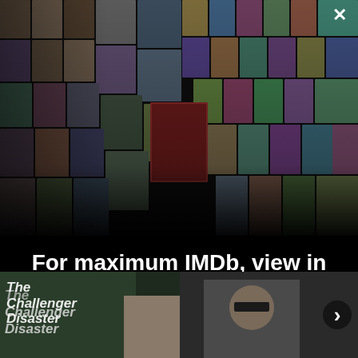[Figure (photo): IMDb app promotional collage showing a grid of actor headshots on the left side and movie/TV show posters on the right side, arranged in a perspective/3D vanishing point layout against a black background. A white X close button appears in the top right corner.]
For maximum IMDb, view in the app
Get the app
[Figure (photo): Bottom strip showing two panels: left panel shows a scene with text 'The Challenger Disaster' on a chalkboard and a person, right panel shows a person with glasses in a darker setting. A right arrow navigation button appears on the far right.]